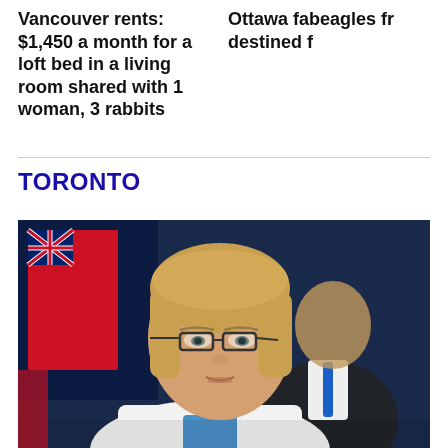Vancouver rents: $1,450 a month for a loft bed in a living room shared with 1 woman, 3 rabbits
Ottawa far beagles fr destined f
TORONTO
[Figure (photo): A woman with blonde hair and glasses wearing a white blazer at a press conference, with a man in a dark suit and blue tie standing behind her, and red and blue flags in the background.]